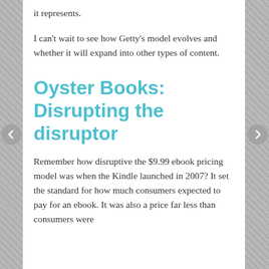it represents.
I can't wait to see how Getty's model evolves and whether it will expand into other types of content.
Oyster Books: Disrupting the disruptor
Remember how disruptive the $9.99 ebook pricing model was when the Kindle launched in 2007? It set the standard for how much consumers expected to pay for an ebook. It was also a price far less than consumers were